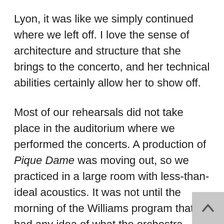Lyon, it was like we simply continued where we left off. I love the sense of architecture and structure that she brings to the concerto, and her technical abilities certainly allow her to show off.
Most of our rehearsals did not take place in the auditorium where we performed the concerts. A production of Pique Dame was moving out, so we practiced in a large room with less-than-ideal acoustics. It was not until the morning of the Williams program that I had any idea of what the orchestra really sounded like. We worked hard on achieving good balances and blends. By the